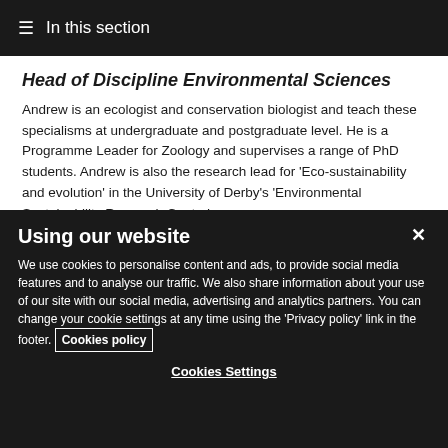☰ In this section
Head of Discipline Environmental Sciences
Andrew is an ecologist and conservation biologist and teach these specialisms at undergraduate and postgraduate level. He is a Programme Leader for Zoology and supervises a range of PhD students. Andrew is also the research lead for 'Eco-sustainability and evolution' in the University of Derby's 'Environmental Sustainability Research Centre'.
Using our website
We use cookies to personalise content and ads, to provide social media features and to analyse our traffic. We also share information about your use of our site with our social media, advertising and analytics partners. You can change your cookie settings at any time using the 'Privacy policy' link in the footer. Cookies policy
Cookies Settings